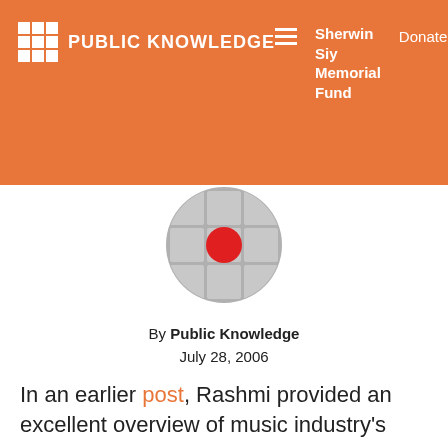PUBLIC KNOWLEDGE | Sherwin Siy Memorial Fund | Donate
[Figure (logo): Public Knowledge logo: 3x3 grid of white squares with a red circle overlay, gray circular background]
By Public Knowledge
July 28, 2006
In an earlier post, Rashmi provided an excellent overview of music industry's